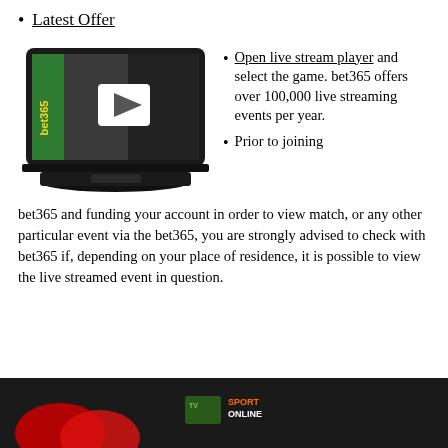Latest Offer
[Figure (illustration): Illustration of a laptop with bet365 branding showing a green sidebar with 'bet365' text in yellow, a dark screen with a white play button triangle icon in the center.]
Open live stream player and select the game. bet365 offers over 100,000 live streaming events per year.
Prior to joining bet365 and funding your account in order to view match, or any other particular event via the bet365, you are strongly advised to check with bet365 if, depending on your place of residence, it is possible to view the live streamed event in question.
[Figure (screenshot): Bottom image showing a dark background with sport online TV logo visible.]